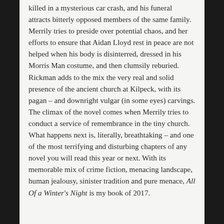killed in a mysterious car crash, and his funeral attracts bitterly opposed members of the same family. Merrily tries to preside over potential chaos, and her efforts to ensure that Aidan Lloyd rest in peace are not helped when his body is disinterred, dressed in his Morris Man costume, and then clumsily reburied. Rickman adds to the mix the very real and solid presence of the ancient church at Kilpeck, with its pagan – and downright vulgar (in some eyes) carvings. The climax of the novel comes when Merrily tries to conduct a service of remembrance in the tiny church. What happens next is, literally, breathtaking – and one of the most terrifying and disturbing chapters of any novel you will read this year or next. With its memorable mix of crime fiction, menacing landscape, human jealousy, sinister tradition and pure menace, All Of a Winter's Night is my book of 2017.